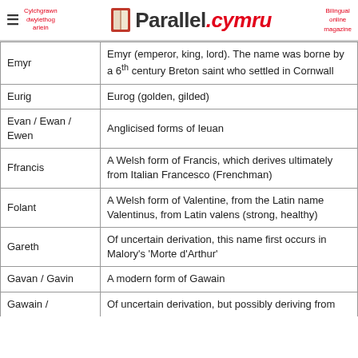Parallel.cymru — Cylchgrawn dwyiethog arlein — Bilingual online magazine
| Name | Meaning/Description |
| --- | --- |
| Emyr | Emyr (emperor, king, lord). The name was borne by a 6th century Breton saint who settled in Cornwall |
| Eurig | Eurog (golden, gilded) |
| Evan / Ewan / Ewen | Anglicised forms of Ieuan |
| Ffrancis | A Welsh form of Francis, which derives ultimately from Italian Francesco (Frenchman) |
| Folant | A Welsh form of Valentine, from the Latin name Valentinus, from Latin valens (strong, healthy) |
| Gareth | Of uncertain derivation, this name first occurs in Malory's 'Morte d'Arthur' |
| Gavan / Gavin | A modern form of Gawain |
| Gawain / | Of uncertain derivation, but possibly deriving from |